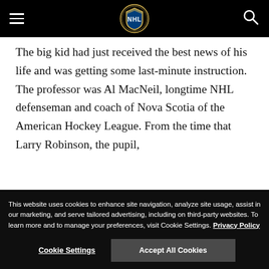NHL navigation header with logo, hamburger menu, and search icon
The big kid had just received the best news of his life and was getting some last-minute instruction. The professor was Al MacNeil, longtime NHL defenseman and coach of Nova Scotia of the American Hockey League. From the time that Larry Robinson, the pupil,
This website uses cookies to enhance site navigation, analyze site usage, assist in our marketing, and serve tailored advertising, including on third-party websites. To learn more and to manage your preferences, visit Cookie Settings. Privacy Policy
Cookie Settings   Accept All Cookies